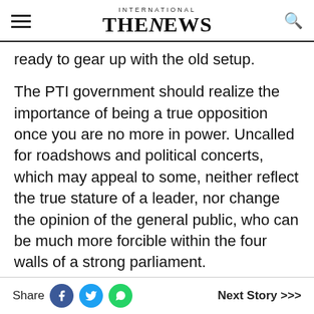INTERNATIONAL THE NEWS
ready to gear up with the old setup.
The PTI government should realize the importance of being a true opposition once you are no more in power. Uncalled for roadshows and political concerts, which may appeal to some, neither reflect the true stature of a leader, nor change the opinion of the general public, who can be much more forcible within the four walls of a strong parliament.
In the absence of substantial evidence supporting the narrative of foreign intervention, the former premier of Pakistan in
Share | Next Story >>>